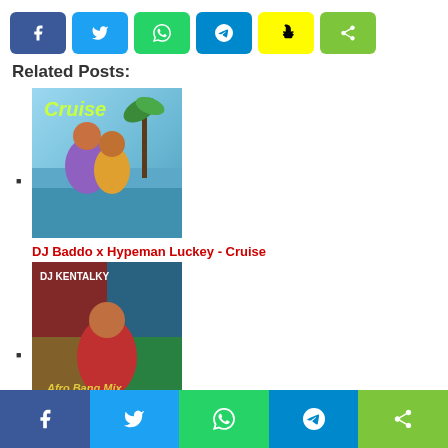[Figure (infographic): Row of social share buttons: Facebook (dark blue), Twitter (light blue), WhatsApp (green), Telegram (blue), Snapchat (yellow), Share (green)]
Related Posts:
[Figure (photo): Thumbnail image for DJ Baddo x Hypeman Luckey - Cruise music cover]
DJ Baddo x Hypeman Luckey - Cruise
[Figure (photo): Thumbnail image for DJ Kentalky - Afro Bang Mix music cover]
DJ Kentalky - Afro Bang Mix
[Figure (photo): Thumbnail image for third related post music cover]
[Figure (infographic): Bottom sticky row of social share buttons: Facebook, Twitter, WhatsApp, Telegram, Share]